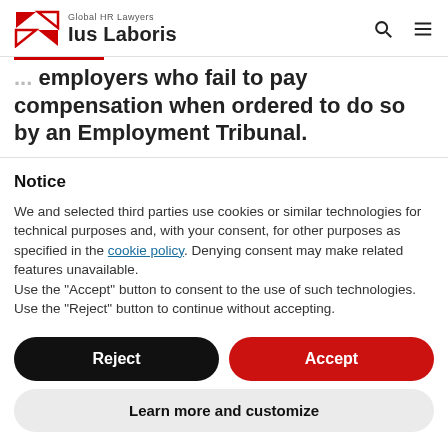Global HR Lawyers Ius Laboris
employers who fail to pay compensation when ordered to do so by an Employment Tribunal.
Notice
We and selected third parties use cookies or similar technologies for technical purposes and, with your consent, for other purposes as specified in the cookie policy. Denying consent may make related features unavailable.
Use the "Accept" button to consent to the use of such technologies. Use the "Reject" button to continue without accepting.